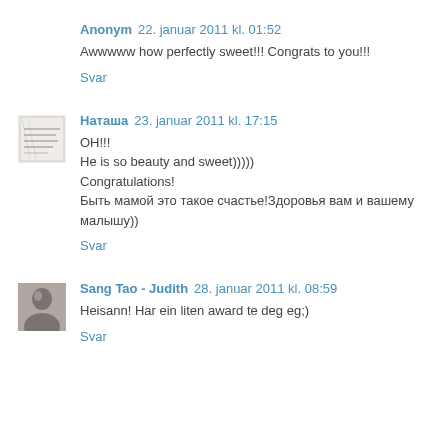Anonym 22. januar 2011 kl. 01:52
Awwww how perfectly sweet!!! Congrats to you!!!
Svar
Наташа 23. januar 2011 kl. 17:15
ОН!!!
He is so beauty and sweet)))))
Congratulations!
Быть мамой это такое счастье!Здоровья вам и вашему малышу))
Svar
Sang Tao - Judith 28. januar 2011 kl. 08:59
Heisann! Har ein liten award te deg eg;)
Svar